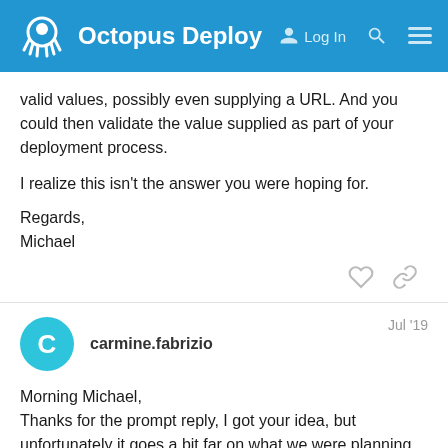Octopus Deploy  Log In
valid values, possibly even supplying a URL. And you could then validate the value supplied as part of your deployment process.
I realize this isn't the answer you were hoping for.
Regards,
Michael
carmine.fabrizio  Jul '19
Morning Michael,
Thanks for the prompt reply, I got your idea, but unfortunately it goes a bit far on what we were planning to do.
Do you know if the octopus team will rele... ?